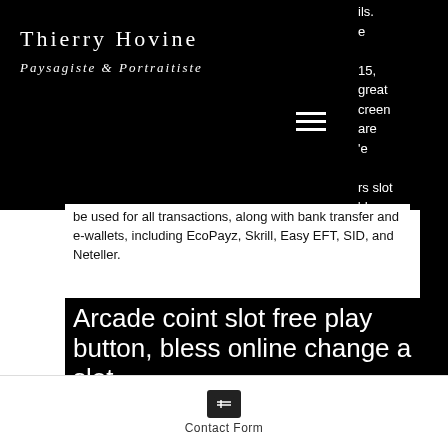Thierry Hovine
Paysagiste & Portraitiste
ils.
e
15,
great
creen
are
e
rs slot
ds can
be used for all transactions, along with bank transfer and e-wallets, including EcoPayz, Skrill, Easy EFT, SID, and Neteller.
Arcade coint slot free play button, bless online change a slot
Cadacabeza Hispanic employs points based
Contact Form